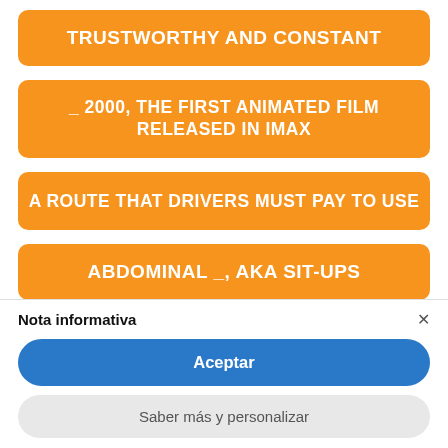TRUSTWORTHY AND CONSTANT
_ 2000, THE FIRST ANIMATED FILM RELEASED IN IMAX
A ROUTE THAT DRIVERS MUST PAY TO USE
ABDOMINAL _, AKA SIT-UPS
Nota informativa
Aceptar
Saber más y personalizar